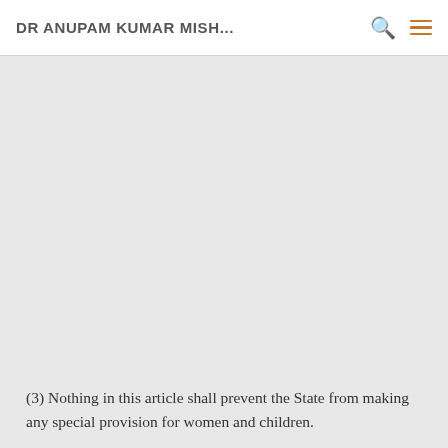DR ANUPAM KUMAR MISH...
(3) Nothing in this article shall prevent the State from making any special provision for women and children.